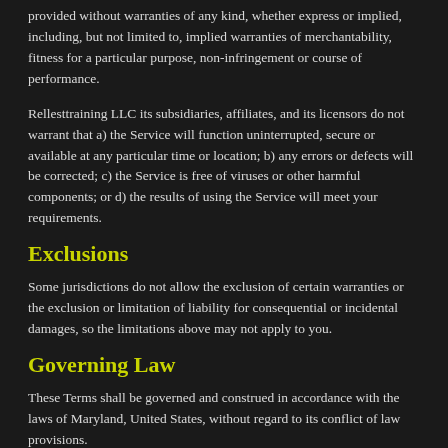provided without warranties of any kind, whether express or implied, including, but not limited to, implied warranties of merchantability, fitness for a particular purpose, non-infringement or course of performance.
Rellesttraining LLC its subsidiaries, affiliates, and its licensors do not warrant that a) the Service will function uninterrupted, secure or available at any particular time or location; b) any errors or defects will be corrected; c) the Service is free of viruses or other harmful components; or d) the results of using the Service will meet your requirements.
Exclusions
Some jurisdictions do not allow the exclusion of certain warranties or the exclusion or limitation of liability for consequential or incidental damages, so the limitations above may not apply to you.
Governing Law
These Terms shall be governed and construed in accordance with the laws of Maryland, United States, without regard to its conflict of law provisions.